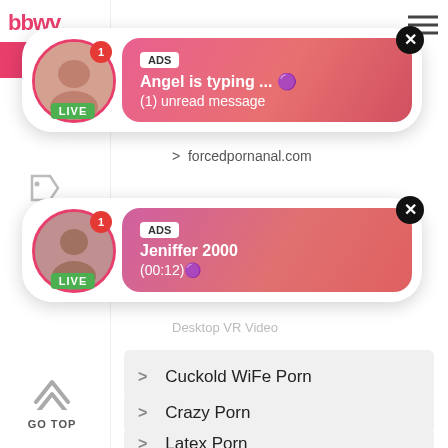bbwy.com
[Figure (screenshot): Ad popup 1: Avatar with LIVE badge and notification dot, pink gradient bubble with ADS label, text 'Angel is typing ... (1) unread message', close button]
forcedpornanal.com
[Figure (screenshot): Ad popup 2: Avatar with LIVE badge and notification dot, pink/red gradient bubble with ADS label, text 'Jeniffer 2000 (00:12)', close button]
Desktop VR Video
Cuckold WiFe Porn
Crazy Porn
Latex Porn
Blackpornamateurs